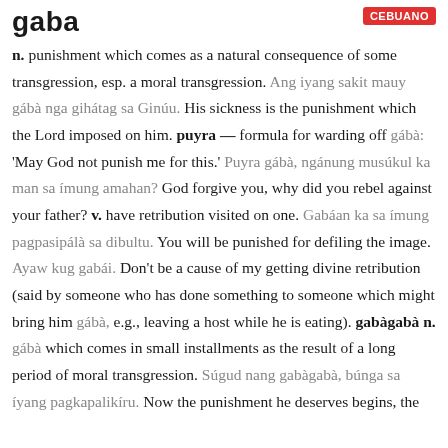gaba
n. punishment which comes as a natural consequence of some transgression, esp. a moral transgression. Ang iyang sakit mauy gábà nga gihátag sa Ginúu. His sickness is the punishment which the Lord imposed on him. puyra — formula for warding off gábà: 'May God not punish me for this.' Puyra gábà, ngánung musúkul ka man sa ímung amahan? God forgive you, why did you rebel against your father? v. have retribution visited on one. Gabáan ka sa ímung pagpasipálà sa dibultu. You will be punished for defiling the image. Ayaw kug gabái. Don't be a cause of my getting divine retribution (said by someone who has done something to someone which might bring him gábà, e.g., leaving a host while he is eating). gabàgabà n. gábà which comes in small installments as the result of a long period of moral transgression. Súgud nang gabàgabà, búnga sa íyang pagkapalikíru. Now the punishment he deserves begins, the